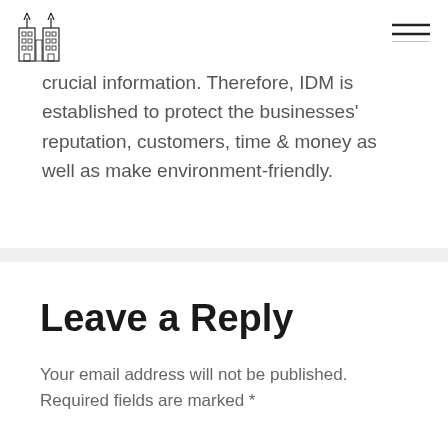[Logo and navigation hamburger menu]
crucial information. Therefore, IDM is established to protect the businesses' reputation, customers, time & money as well as make environment-friendly.
Leave a Reply
Your email address will not be published. Required fields are marked *